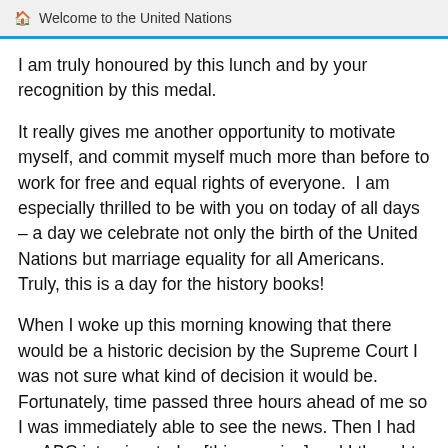Welcome to the United Nations
I am truly honoured by this lunch and by your recognition by this medal.
It really gives me another opportunity to motivate myself, and commit myself much more than before to work for free and equal rights of everyone.  I am especially thrilled to be with you on today of all days – a day we celebrate not only the birth of the United Nations but marriage equality for all Americans.  Truly, this is a day for the history books!
When I woke up this morning knowing that there would be a historic decision by the Supreme Court I was not sure what kind of decision it would be. Fortunately, time passed three hours ahead of me so I was immediately able to see the news. Then I had an ABC interview today [this morning] and I thought, what should I say? So this is what I said. […] I just